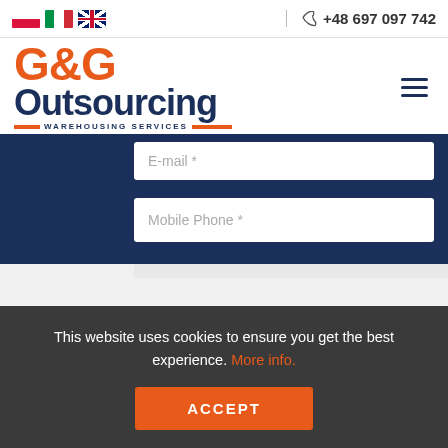G&G Outsourcing Warehousing Services — +48 697 097 742
[Figure (logo): G&G Outsourcing Warehousing Services logo in orange and dark navy blue]
E-mail *
Mobile Phone *
This website uses cookies to ensure you get the best experience. More info.
ACCEPT